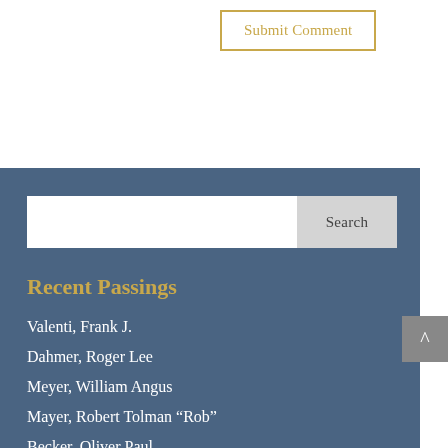Submit Comment
[Figure (screenshot): Search input box with a 'Search' button on the right, inside a blue panel]
Recent Passings
Valenti, Frank J.
Dahmer, Roger Lee
Meyer, William Angus
Mayer, Robert Tolman “Rob”
Becker, Oliver Paul